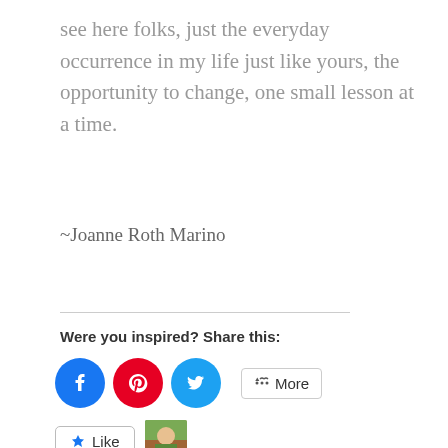see here folks, just the everyday occurrence in my life just like yours, the opportunity to change, one small lesson at a time.
~Joanne Roth Marino
Were you inspired? Share this:
[Figure (infographic): Social share buttons: Facebook (blue circle), Pinterest (red circle), Twitter (cyan circle), and a More button with share icon]
[Figure (infographic): Like button with star icon and a small avatar photo thumbnail. Text: One blogger likes this.]
I realized “sucky girls and